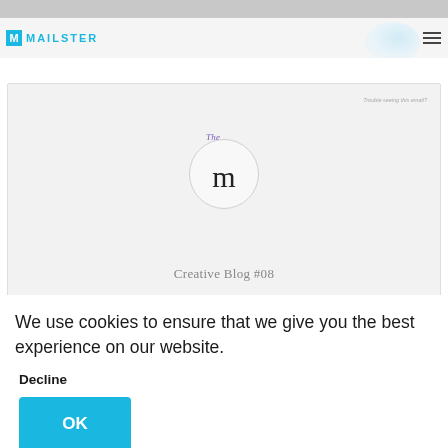[Figure (screenshot): Mailster website header with logo and hamburger menu, light blue decorative blob top right, email newsletter preview showing 'The m' logo in a circle and 'Creative Blog #08' heading, with a cookie consent overlay at the bottom showing 'We use cookies to ensure that we give you the best experience on our website.' with Decline and OK buttons.]
We use cookies to ensure that we give you the best experience on our website.
Decline
OK